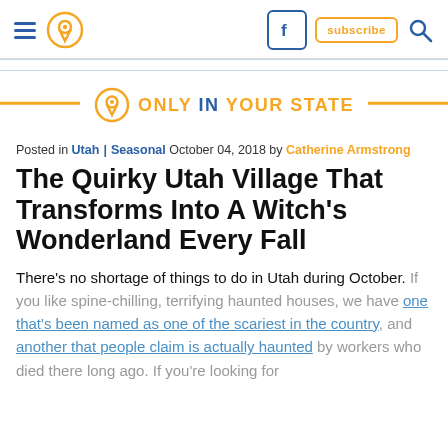Navigation header with hamburger menu, pin logo, Facebook icon, subscribe button, search icon
[Figure (logo): Only In Your State logo with location pin icon and orange/blue text, flanked by orange horizontal lines]
Posted in Utah | Seasonal October 04, 2018 by Catherine Armstrong
The Quirky Utah Village That Transforms Into A Witch's Wonderland Every Fall
There’s no shortage of things to do in Utah during October. If you like spine-chilling, terrifying haunted houses, we have one that’s been named as one of the scariest in the country, and another that people claim is actually haunted by workers who died there long ago. If you’re looking for